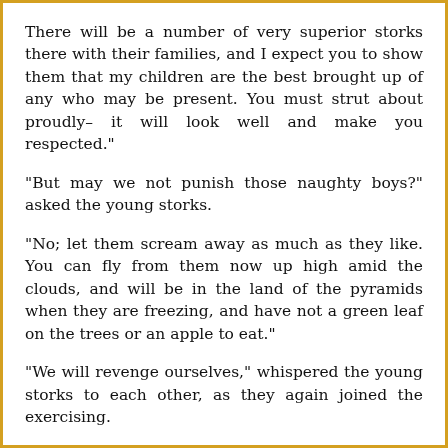There will be a number of very superior storks there with their families, and I expect you to show them that my children are the best brought up of any who may be present. You must strut about proudly– it will look well and make you respected."
"But may we not punish those naughty boys?" asked the young storks.
"No; let them scream away as much as they like. You can fly from them now up high amid the clouds, and will be in the land of the pyramids when they are freezing, and have not a green leaf on the trees or an apple to eat."
"We will revenge ourselves," whispered the young storks to each other, as they again joined the exercising.
Of all the boys in the street who sang the mocking song about the storks, not one was so determined to go on with it as he who first began it. Yet he was a little fellow not more than six years old. To the young storks he appeared